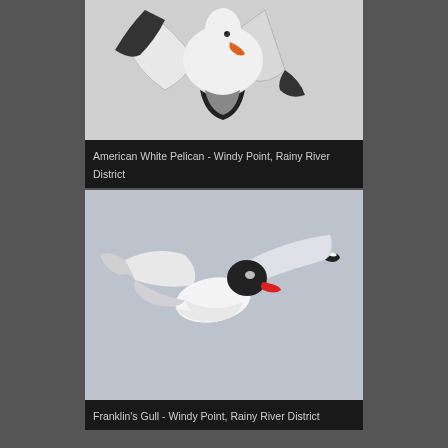[Figure (photo): American White Pelican in flight against light grey sky, viewed from below/side, showing dark wing tips and orange beak, cropped at top]
American White Pelican - Windy Point, Rainy River District
[Figure (photo): Franklin's Gull in flight against pale blue-grey sky, showing black head with red beak, white body, grey wings with black and white tips]
Franklin's Gull - Windy Point, Rainy River District